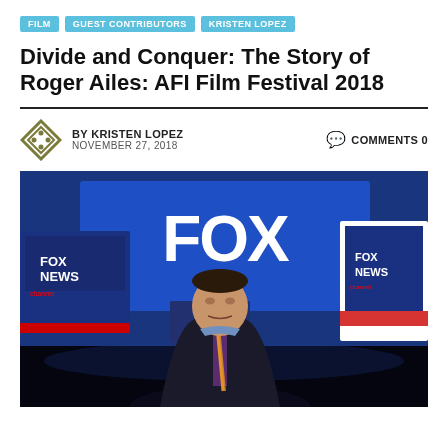FILM | GUEST CONTRIBUTORS | KRISTEN LOPEZ
Divide and Conquer: The Story of Roger Ailes: AFI Film Festival 2018
BY KRISTEN LOPEZ  NOVEMBER 27, 2018  COMMENTS 0
[Figure (photo): Roger Ailes standing in a dark suit with striped tie in the Fox News studio, surrounded by Fox News Channel screens and the large FOX logo in blue lighting behind him.]